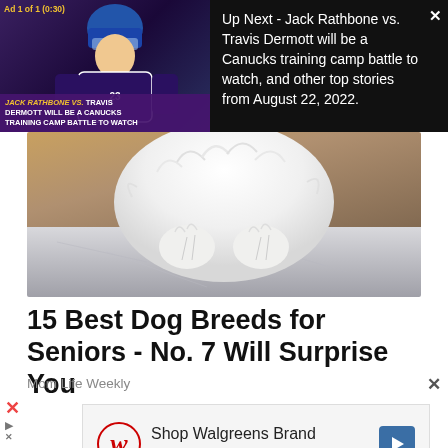Ad 1 of 1 (0:30)
[Figure (screenshot): Video ad thumbnail showing hockey player with text overlay: JACK RATHBONE VS. TRAVIS DERMOTT WILL BE A CANUCKS TRAINING CAMP BATTLE TO WATCH]
Up Next - Jack Rathbone vs. Travis Dermott will be a Canucks training camp battle to watch, and other top stories from August 22, 2022.
[Figure (photo): Close-up photo of a fluffy white dog's paws and lower body resting on a stone surface]
15 Best Dog Breeds for Seniors - No. 7 Will Surprise You
Mom Life Weekly
[Figure (screenshot): Walgreens advertisement: Shop Walgreens Brand Health & Wellness Today with Walgreens W logo and navigation arrow icon]